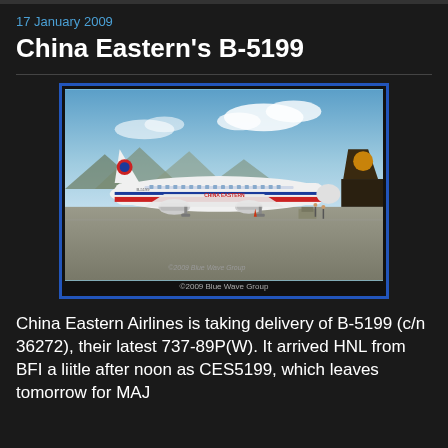17 January 2009
China Eastern's B-5199
[Figure (photo): China Eastern Airlines Boeing 737-89P(W) registration B-5199 parked on tarmac at an airport, with mountains in background and a UPS aircraft tail visible on right. Photo watermark: ©2009 Blue Wave Group]
©2009 Blue Wave Group
China Eastern Airlines is taking delivery of B-5199 (c/n 36272), their latest 737-89P(W). It arrived HNL from BFI a liitle after noon as CES5199, which leaves tomorrow for MAJ